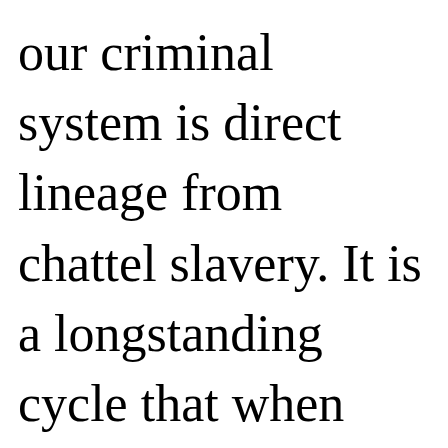our criminal system is direct lineage from chattel slavery. It is a longstanding cycle that when Black people get an inch of freedom, the